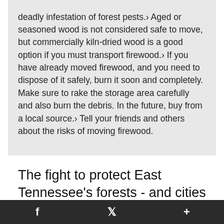deadly infestation of forest pests.› Aged or seasoned wood is not considered safe to move, but commercially kiln-dried wood is a good option if you must transport firewood.› If you have already moved firewood, and you need to dispose of it safely, burn it soon and completely. Make sure to rake the storage area carefully and also burn the debris. In the future, buy from a local source.› Tell your friends and others about the risks of moving firewood.
The fight to protect East Tennessee's forests - and cities - from an invasive species continues expanding.
The emerald ash borer has been found in 47 of
f   t   +